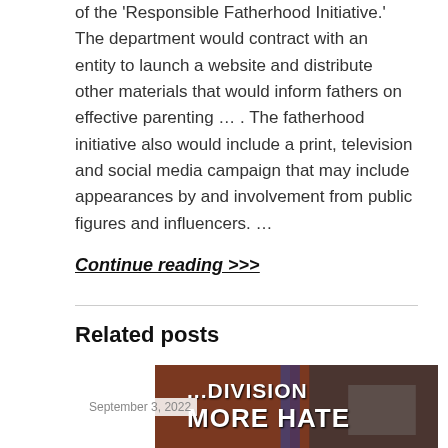of the 'Responsible Fatherhood Initiative.' The department would contract with an entity to launch a website and distribute other materials that would inform fathers on effective parenting … . The fatherhood initiative also would include a print, television and social media campaign that may include appearances by and involvement from public figures and influencers. …
Continue reading >>>
Related posts
September 3, 2022
[Figure (photo): Image showing text overlay reading 'MORE DIVISION MORE HATE' with a person speaking at a podium with American flags in background]